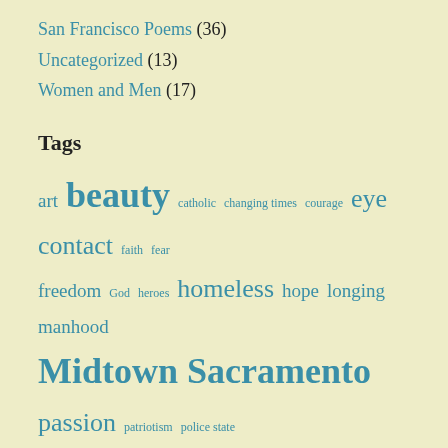San Francisco Poems (36)
Uncategorized (13)
Women and Men (17)
Tags
art beauty catholic changing times courage eye contact faith fear freedom God heroes homeless hope longing manhood Midtown Sacramento passion patriotism police state Post by Voice San Francisco short poems walking
Letters to Jim
These posts are letters David wrote to his deceased brother